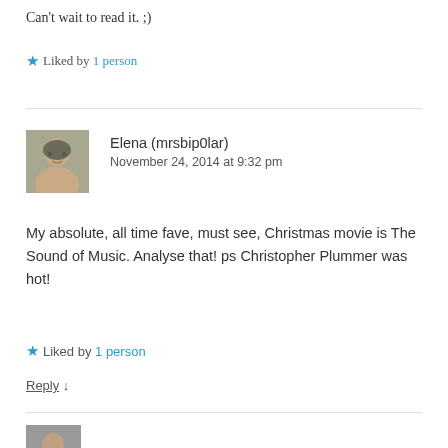Can't wait to read it. ;)
★ Liked by 1 person
Elena (mrsbip0lar)
November 24, 2014 at 9:32 pm
My absolute, all time fave, must see, Christmas movie is The Sound of Music. Analyse that! ps Christopher Plummer was hot!
★ Liked by 1 person
Reply ↓